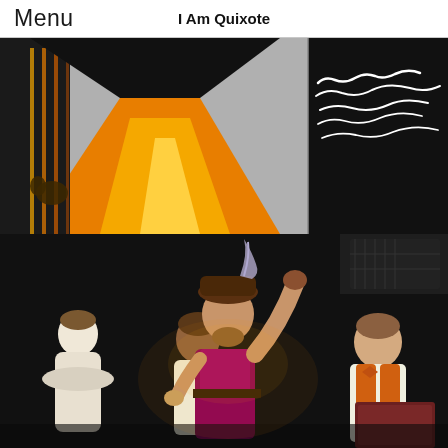Menu   I Am Quixote
[Figure (illustration): Stylized graphic illustration of a stage set with an orange/yellow illuminated doorway or corridor on the left, black background with white cursive text on the right. A silhouette figure is visible near cage-like vertical bars on the left side.]
[Figure (photo): Stage performance photo showing a man in a purple/magenta doublet costume with a feathered hat raising one arm triumphantly, surrounded by three other performers in white shirts. Dark theater background with stage lighting equipment visible.]